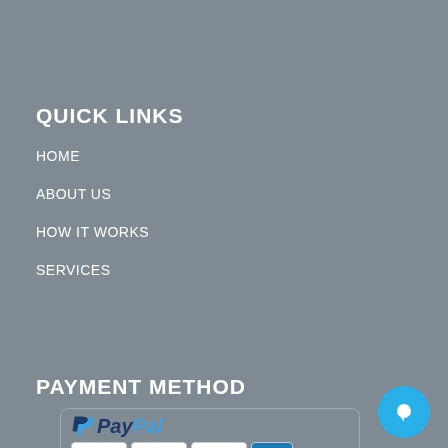QUICK LINKS
HOME
ABOUT US
HOW IT WORKS
SERVICES
PAYMENT METHOD
[Figure (logo): Payment methods logos showing PayPal, Visa, MasterCard, Maestro, and American Express]